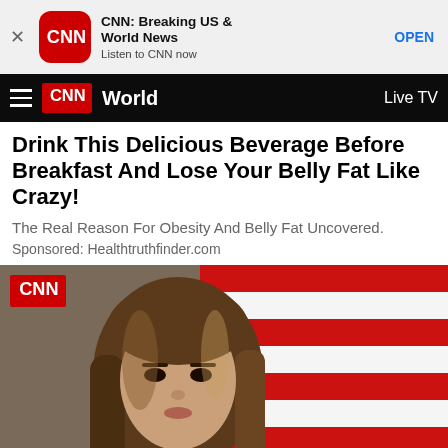[Figure (screenshot): App store ad banner for CNN: Breaking US & World News app with red CNN icon, app name, subtitle 'Listen to CNN now', and OPEN button]
World | Live TV
Drink This Delicious Beverage Before Breakfast And Lose Your Belly Fat Like Crazy!
The Real Reason For Obesity And Belly Fat Uncovered.
Sponsored: Healthtruthfinder.com
[Figure (photo): Woman with long brown hair standing in front of an American flag, with CNN logo badge in top left corner]